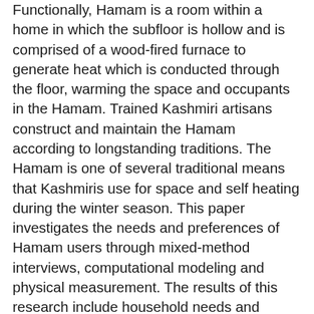Functionally, Hamam is a room within a home in which the subfloor is hollow and is comprised of a wood-fired furnace to generate heat which is conducted through the floor, warming the space and occupants in the Hamam. Trained Kashmiri artisans construct and maintain the Hamam according to longstanding traditions. The Hamam is one of several traditional means that Kashmiris use for space and self heating during the winter season. This paper investigates the needs and preferences of Hamam users through mixed-method interviews, computational modeling and physical measurement. The results of this research include household needs and preference regarding their Hamam, and measurements and MATLAB simulation to characterize the thermal behavior of Hamam. The methods used included installing specific temperature and humidity sensors to record the temperature and then comparing the results with the help of MATLAB.